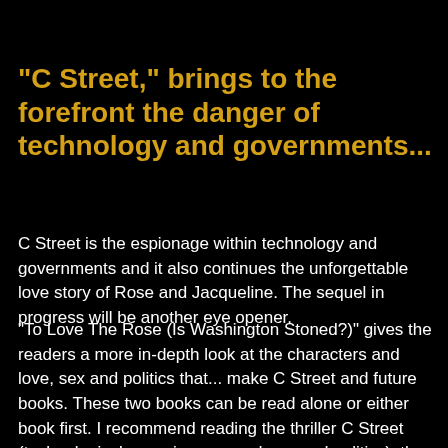"C Street," brings to the forefront the danger of technology and governments...
C Street is the espionage within technology and governments and it also continues the unforgettable love story of Rose and Jacqueline. The sequel in progress will be another eye opener.
"To Love The Rose (Is Washington Stoned?)" gives the readers a more in-depth look at the characters and love, sex and politics that... make C Street and future books. These two books can be read alone or either book first. I recommend reading the thriller C Street (technological conspiracy, sex, drugs and politics), then coming back to get the know the characters even more in, To Love The Rose.